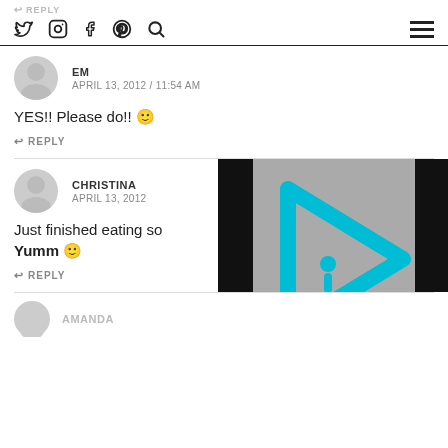REPLY | social icons: twitter, instagram, facebook, pinterest, search | hamburger menu
EM
APRIL 13, 2012 / 11:54 AM
YES!! Please do!! 🙂
REPLY
CHRISTINA
APRIL 13, 2012
[Figure (logo): Video player overlay with cyan/turquoise play button logo on grey and black background]
Just finished eating so... Yumm 🙂
REPLY
AMANDA